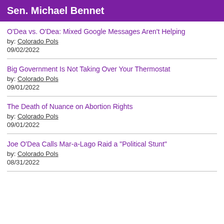Sen. Michael Bennet
O'Dea vs. O'Dea: Mixed Google Messages Aren't Helping
by: Colorado Pols
09/02/2022
Big Government Is Not Taking Over Your Thermostat
by: Colorado Pols
09/01/2022
The Death of Nuance on Abortion Rights
by: Colorado Pols
09/01/2022
Joe O'Dea Calls Mar-a-Lago Raid a "Political Stunt"
by: Colorado Pols
08/31/2022